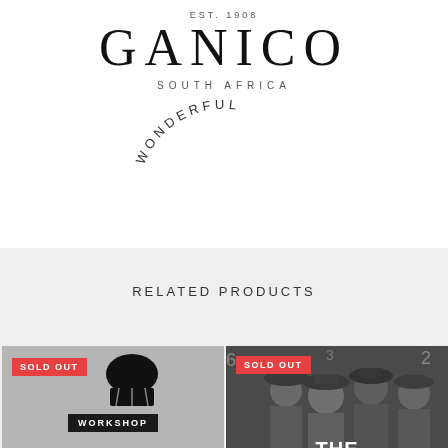[Figure (logo): GANICO South Africa brand logo with EST. 1908 text, large serif brand name, SOUTH AFRICA subtitle, and WONDERFUL text arranged in an arc below]
RELATED PRODUCTS
[Figure (illustration): Product card with grey background, SOLD OUT red badge, muffin icon, WORKSHOP label badge, and TRUFFLES italic text at bottom]
[Figure (photo): Product card with black and white photo of men in hats, SOLD OUT red badge, THE TURBULENT white text at bottom]